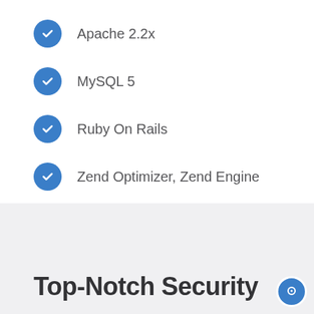Apache 2.2x
MySQL 5
Ruby On Rails
Zend Optimizer, Zend Engine
IonCube Loader
Top-Notch Security